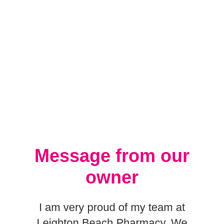Message from our owner
I am very proud of my team at Leighton Beach Pharmacy. We